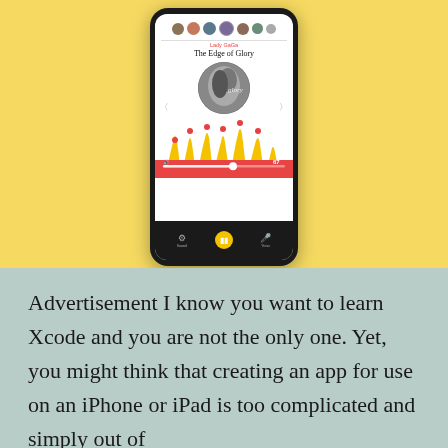[Figure (screenshot): iPhone mockup showing a music app playing 'The Edge of Glory' by Lady GaGa. The screen displays avatar icons at top, artist name in red, song title, circular album art, navigation arrows, a colorful waveform visualization in yellow and red/coral colors with red dots, a volume slider showing 67, and bottom control bar with settings, play/pause, and microphone buttons.]
Advertisement I know you want to learn Xcode and you are not the only one. Yet, you might think that creating an app for use on an iPhone or iPad is too complicated and simply out of